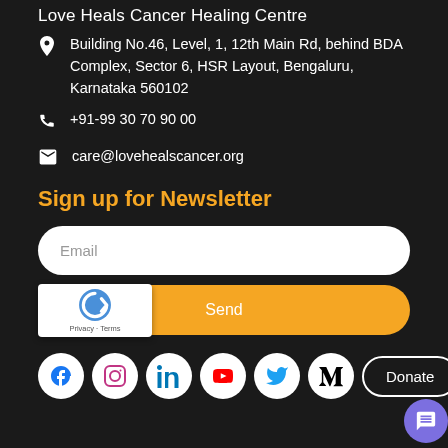Love Heals Cancer Healing Centre
Building No.46, Level, 1, 12th Main Rd, behind BDA Complex, Sector 6, HSR Layout, Bengaluru, Karnataka 560102
+91-99 30 70 90 00
care@lovehealscancer.org
Sign up for Newsletter
Email
Send
[Figure (infographic): Social media icons row: Facebook, Instagram, LinkedIn, YouTube, Twitter/X, Medium. Donate button. Scroll-to-top button. reCAPTCHA badge.]